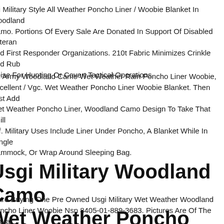sgi Military Style All Weather Poncho Liner / Woobie Blanket In Woodland Camo. Portions Of Every Sale Are Donated In Support Of Disabled Veterans And First Responder Organizations. 210t Fabric Minimizes Crinkle And Rub Noise For Hunting Or Covert Tactical Operations.
sgi Army Woodland Camo Wet Weather Rain Poncho Liner Woobie, Excellent / Vgc. Wet Weather Poncho Liner Woobie Blanket. Then Just Add Wet Weather Poncho Liner, Woodland Camo Design To Take That Chill Off. Military Uses Include Liner Under Poncho, A Blanket While In Jungle Hammock, Or Wrap Around Sleeping Bag.
Usgi Military Woodland Camo Wet Weather Poncho Liner Woobie 8405 889 3683 J43
u Are Buying One Pre Owned Usgi Military Wet Weather Woodland Poncho Liner Woobie Nsn 8405-01-889-3683. Pictures Are Of The Actual Item You Are Buying.